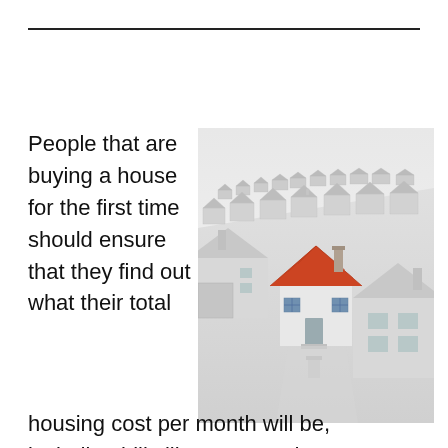People that are buying a house for the first time should ensure that they find out what their total housing cost per month will be, including bills like taxes and homeowner's insurance. Today, 80 percent of searches for homes begin with the
[Figure (photo): 3D render of a neighborhood of white model houses with one distinctive house featuring an orange/red roof in the center foreground, viewed from an elevated angle]